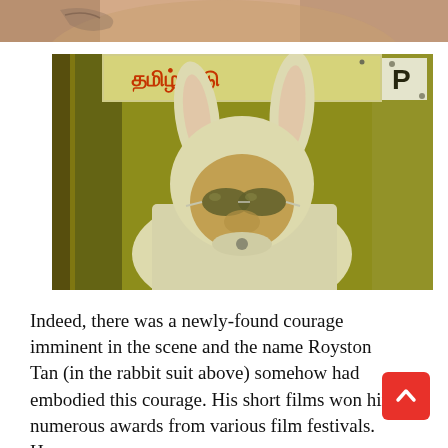[Figure (photo): Partial view of a person's shoulder/torso area, cropped at top of page]
[Figure (photo): Person wearing a white bunny rabbit costume with large ears and white sunglasses, standing in front of a green wall with Tamil script signage. Photo has a yellow-green tinted, film-like quality.]
Indeed, there was a newly-found courage imminent in the scene and the name Royston Tan (in the rabbit suit above) somehow had embodied this courage. His short films won him numerous awards from various film festivals. He